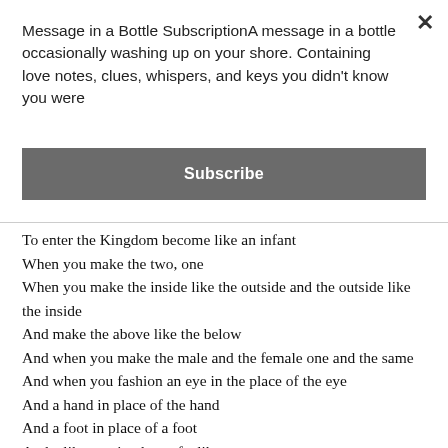Message in a Bottle SubscriptionA message in a bottle occasionally washing up on your shore. Containing love notes, clues, whispers, and keys you didn't know you were
Subscribe
To enter the Kingdom become like an infant
When you make the two, one
When you make the inside like the outside and the outside like the inside
And make the above like the below
And when you make the male and the female one and the same
And when you fashion an eye in the place of the eye
And a hand in place of the hand
And a foot in place of a foot
And a likeness in place of a likeness
Then you will enter the Kingdom of God
Truly whoever does not receive the Kingdom of God as a little child shall not enter it

For the light of the body is the eye